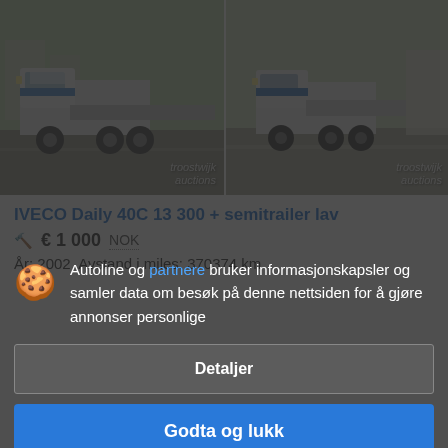[Figure (photo): Two photos of a white IVECO Daily truck with blue Gali Borg branding and a lowbed semitrailer, photographed outdoors. Both images have 'troostwijk auctions' watermark.]
IVECO Daily 40C 13 300 + semitrailer lav
€ 1 000  NOK
År: 2002  Avstand i miles: 370374 km
Autoline og partnere bruker informasjonskapsler og samler data om besøk på denne nettsiden for å gjøre annonser personlige
Detaljer
Godta og lukk